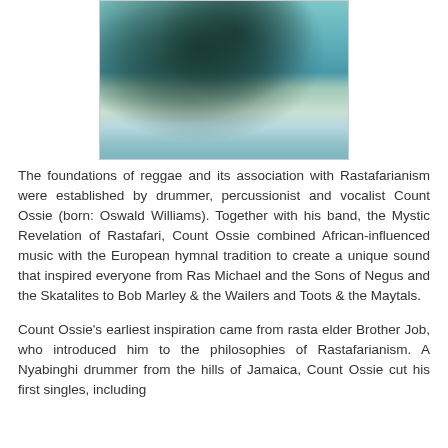[Figure (illustration): A painting with teal and blue-green tones depicting a tree with dark foliage and abstract landscape elements with hints of figures in the background.]
The foundations of reggae and its association with Rastafarianism were established by drummer, percussionist and vocalist Count Ossie (born: Oswald Williams). Together with his band, the Mystic Revelation of Rastafari, Count Ossie combined African-influenced music with the European hymnal tradition to create a unique sound that inspired everyone from Ras Michael and the Sons of Negus and the Skatalites to Bob Marley & the Wailers and Toots & the Maytals.
Count Ossie's earliest inspiration came from rasta elder Brother Job, who introduced him to the philosophies of Rastafarianism. A Nyabinghi drummer from the hills of Jamaica, Count Ossie cut his first singles, including